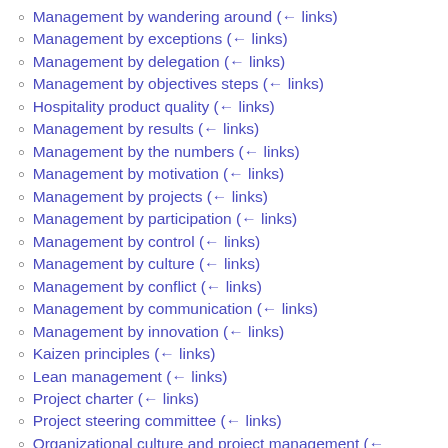Management by wandering around  (← links)
Management by exceptions  (← links)
Management by delegation  (← links)
Management by objectives steps  (← links)
Hospitality product quality  (← links)
Management by results  (← links)
Management by the numbers  (← links)
Management by motivation  (← links)
Management by projects  (← links)
Management by participation  (← links)
Management by control  (← links)
Management by culture  (← links)
Management by conflict  (← links)
Management by communication  (← links)
Management by innovation  (← links)
Kaizen principles  (← links)
Lean management  (← links)
Project charter  (← links)
Project steering committee  (← links)
Organizational culture and project management  (←